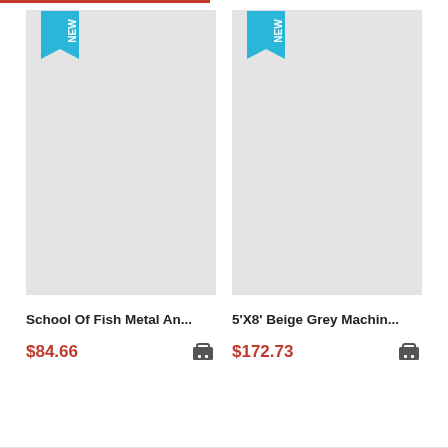[Figure (photo): Product image placeholder (light grey rectangle) with a cyan/blue NEW ribbon badge in the top-left corner for School Of Fish Metal product]
School Of Fish Metal An...
$84.66
[Figure (photo): Product image placeholder (light grey rectangle) with a cyan/blue NEW ribbon badge in the top-left corner for 5'X8' Beige Grey Machine product]
5'X8' Beige Grey Machin...
$172.73